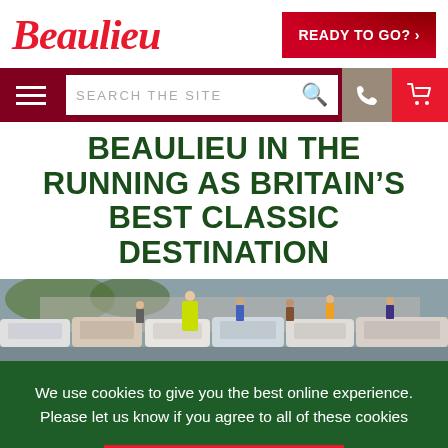[Figure (logo): Beaulieu logo in red italic script font]
[Figure (other): Red button reading READY TO GO? with arrow]
[Figure (other): Navigation bar with hamburger menu, search bar, phone icon, and cart icon]
BEAULIEU IN THE RUNNING AS BRITAIN’S BEST CLASSIC DESTINATION
[Figure (photo): Outdoor car show with many parked cars and people walking among them, a person in a yellow hi-vis jacket visible]
We use cookies to give you the best online experience. Please let us know if you agree to all of these cookies
YES, I AGREE